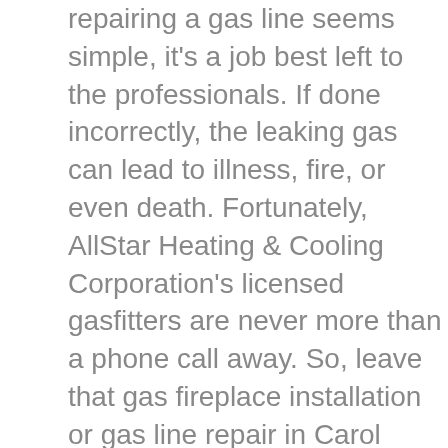repairing a gas line seems simple, it's a job best left to the professionals. If done incorrectly, the leaking gas can lead to illness, fire, or even death. Fortunately, AllStar Heating & Cooling Corporation's licensed gasfitters are never more than a phone call away. So, leave that gas fireplace installation or gas line repair in Carol Stream to the experts. Give us a ring at (630) 326-7900 today!
There's every likelihood that something in your home runs on gas. Maybe it's your furnace or your stove. Regardless, when gas-fueled equipment or appliances stop working, it's time to call in a licensed gas fitter. They're like HVAC techs but, instead of working with furnaces and air conditioners, they work with natural gas and propane appliances. Fortunately, if you